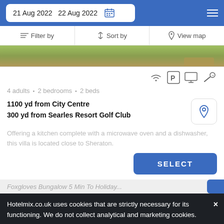21 Aug 2022   22 Aug 2022
Filter by   Sort by   View map
[Figure (photo): Partial view of a grass and dirt outdoor area, top of a property listing photo]
4 adults  •  2 bedrooms  •  2 beds
1100 yd from City Centre
300 yd from Searles Resort Golf Club
Offering a kitchen complete with a microwave oven and a dishwasher, this villa is located close to Sheraton.
SELECT
Foxgloves Bungalow 5 Min To Holiday...
Hotelmix.co.uk uses cookies that are strictly necessary for its functioning. We do not collect analytical and marketing cookies.